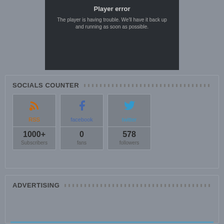[Figure (screenshot): Video player error screen showing 'Player error' title and message 'The player is having trouble. We'll have it back up and running as soon as possible.' overlaid on a dark background with a political image.]
SOCIALS COUNTER
RSS 1000+ Subscribers
facebook 0 fans
twitter 578 followers
ADVERTISING